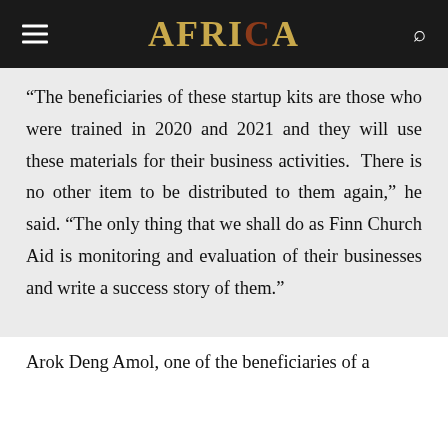AFRICA
“The beneficiaries of these startup kits are those who were trained in 2020 and 2021 and they will use these materials for their business activities. There is no other item to be distributed to them again,” he said. “The only thing that we shall do as Finn Church Aid is monitoring and evaluation of their businesses and write a success story of them.”
Arok Deng Amol, one of the beneficiaries of a